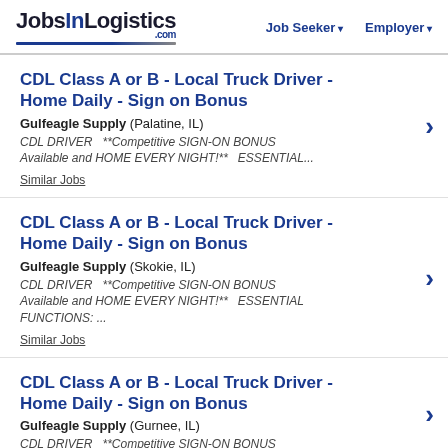JobsInLogistics.com | Job Seeker | Employer
CDL Class A or B - Local Truck Driver - Home Daily - Sign on Bonus
Gulfeagle Supply (Palatine, IL)
CDL DRIVER  **Competitive SIGN-ON BONUS Available and HOME EVERY NIGHT!**  ESSENTIAL...
Similar Jobs
CDL Class A or B - Local Truck Driver - Home Daily - Sign on Bonus
Gulfeagle Supply (Skokie, IL)
CDL DRIVER  **Competitive SIGN-ON BONUS Available and HOME EVERY NIGHT!**  ESSENTIAL FUNCTIONS: ...
Similar Jobs
CDL Class A or B - Local Truck Driver - Home Daily - Sign on Bonus
Gulfeagle Supply (Gurnee, IL)
CDL DRIVER  **Competitive SIGN-ON BONUS